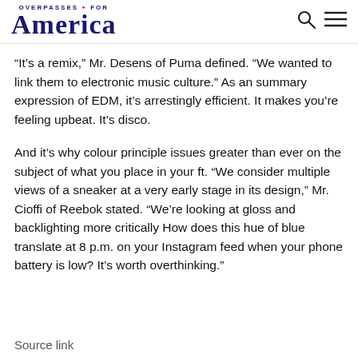OVERPASSES FOR America
“It’s a remix,” Mr. Desens of Puma defined. “We wanted to link them to electronic music culture.” As an summary expression of EDM, it’s arrestingly efficient. It makes you’re feeling upbeat. It’s disco.
And it’s why colour principle issues greater than ever on the subject of what you place in your ft. “We consider multiple views of a sneaker at a very early stage in its design,” Mr. Cioffi of Reebok stated. “We’re looking at gloss and backlighting more critically How does this hue of blue translate at 8 p.m. on your Instagram feed when your phone battery is low? It’s worth overthinking.”
Source link